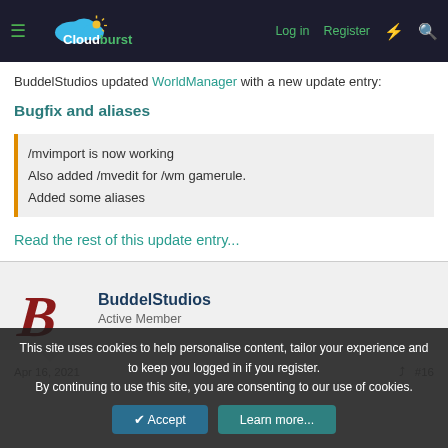Cloudburst — Log in | Register
BuddelStudios updated WorldManager with a new update entry:
Bugfix and aliases
/mvimport is now working
Also added /mvedit for /wm gamerule.
Added some aliases
Read the rest of this update entry...
BuddelStudios
Active Member
Apr 16, 2021
#16
This site uses cookies to help personalise content, tailor your experience and to keep you logged in if you register.
By continuing to use this site, you are consenting to our use of cookies.